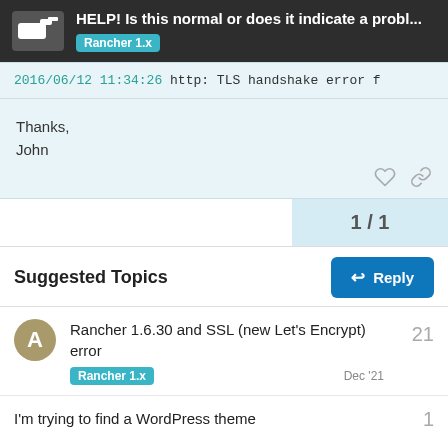HELP! Is this normal or does it indicate a probl... | Rancher 1.x
2016/06/12 11:34:26 http: TLS handshake error f
Thanks,
John
1 / 1
Suggested Topics
Rancher 1.6.30 and SSL (new Let's Encrypt) error | Rancher 1.x | Dec '21 | 21 replies
I'm trying to find a WordPress theme | 1